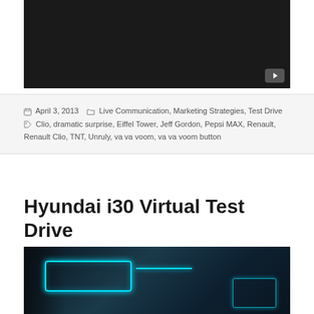[Figure (screenshot): YouTube video embed thumbnail - dark black background with YouTube play button icon in bottom right corner]
April 3, 2013  Live Communication, Marketing Strategies, Test Drive  Clio, dramatic surprise, Eiffel Tower, Jeff Gordon, Pepsi MAX, Renault, Renault Clio, TNT, Unruly, va va voom, va va voom button
Hyundai i30 Virtual Test Drive
[Figure (photo): Interior view of Hyundai i30 with cyan/blue futuristic digital overlay graphics on dark background showing car dashboard and headlight elements]